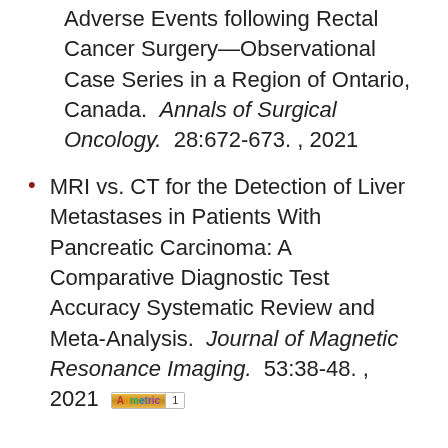Adverse Events following Rectal Cancer Surgery—Observational Case Series in a Region of Ontario, Canada. Annals of Surgical Oncology. 28:672-673. , 2021
MRI vs. CT for the Detection of Liver Metastases in Patients With Pancreatic Carcinoma: A Comparative Diagnostic Test Accuracy Systematic Review and Meta-Analysis. Journal of Magnetic Resonance Imaging. 53:38-48. , 2021 [Altmetric 1]
(partial text at bottom, cut off)